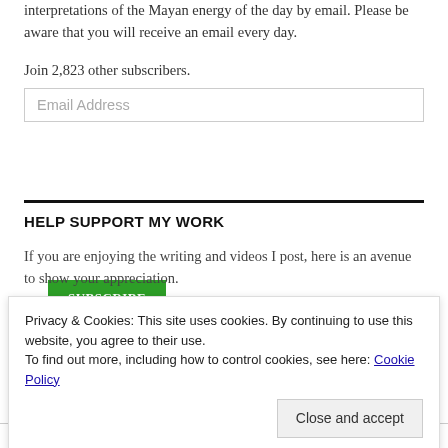interpretations of the Mayan energy of the day by email. Please be aware that you will receive an email every day.
Join 2,823 other subscribers.
Email Address
SUBSCRIBE
HELP SUPPORT MY WORK
If you are enjoying the writing and videos I post, here is an avenue to show your appreciation.
[Figure (other): PayPal donation button (yellow/orange rounded rectangle)]
Privacy & Cookies: This site uses cookies. By continuing to use this website, you agree to their use.
To find out more, including how to control cookies, see here: Cookie Policy
Close and accept
WHY NOT CHECK OUT MY FACEBOOK PAGE?